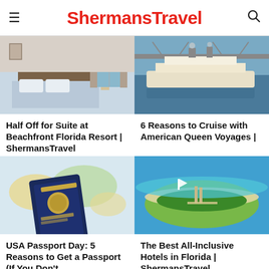ShermansTravel
[Figure (photo): Hotel room with a neatly made bed, lamp, and balcony view of the ocean]
Half Off for Suite at Beachfront Florida Resort | ShermansTravel
[Figure (photo): Riverboat cruise ship on a river with a large bridge in the background]
6 Reasons to Cruise with American Queen Voyages |
[Figure (photo): Hand holding a US passport against a colorful world map background]
USA Passport Day: 5 Reasons to Get a Passport (If You Don't
[Figure (photo): Aerial view of a tropical island beach resort surrounded by turquoise water]
The Best All-Inclusive Hotels in Florida | ShermansTravel